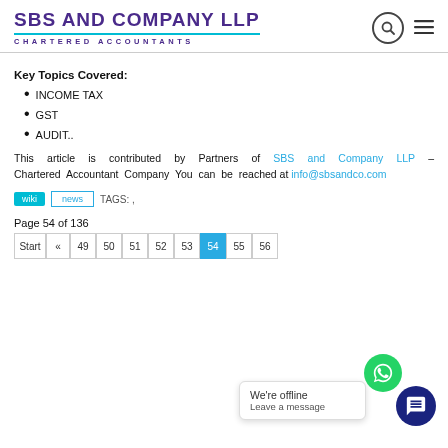SBS AND COMPANY LLP CHARTERED ACCOUNTANTS
Key Topics Covered:
INCOME TAX
GST
AUDIT..
This article is contributed by Partners of SBS and Company LLP – Chartered Accountant Company You can be reached at info@sbsandco.com
wiki  news  TAGS: ,
Page 54 of 136
| Start | « | 49 | 50 | 51 | 52 | 53 | 54 | 55 | 56 |
| --- | --- | --- | --- | --- | --- | --- | --- | --- | --- |